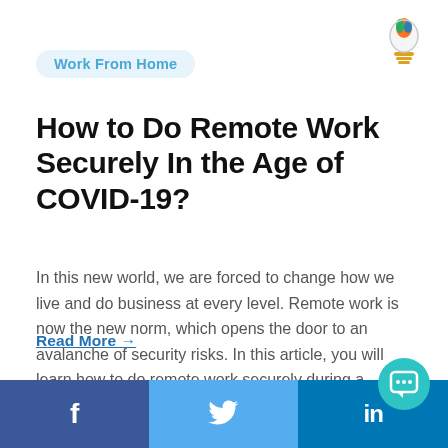[Figure (logo): Colorful torch/light bulb logo with orange, green, blue colors]
Work From Home
How to Do Remote Work Securely In the Age of COVID-19?
In this new world, we are forced to change how we live and do business at every level. Remote work is now the new norm, which opens the door to an avalanche of security risks. In this article, you will learn how to do remote work securely during a pandemic.
Read More →